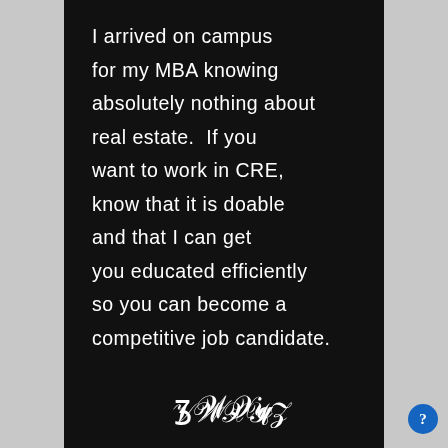[Figure (photo): Handwritten quote on black background: 'I arrived on campus for my MBA knowing absolutely nothing about real estate. If you want to work in CRE, know that it is doable and that I can get you educated efficiently so you can become a competitive job candidate.' followed by a handwritten signature.]